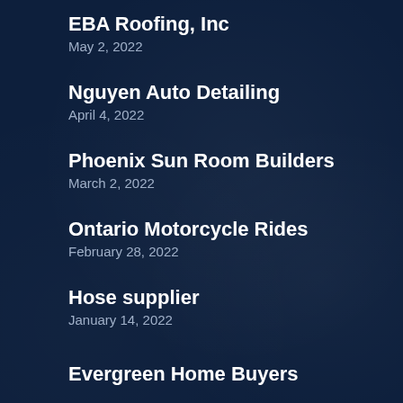EBA Roofing, Inc
May 2, 2022
Nguyen Auto Detailing
April 4, 2022
Phoenix Sun Room Builders
March 2, 2022
Ontario Motorcycle Rides
February 28, 2022
Hose supplier
January 14, 2022
Evergreen Home Buyers